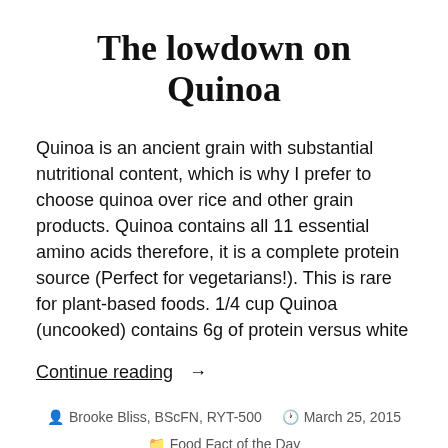The lowdown on Quinoa
Quinoa is an ancient grain with substantial nutritional content, which is why I prefer to choose quinoa over rice and other grain products. Quinoa contains all 11 essential amino acids therefore, it is a complete protein source (Perfect for vegetarians!). This is rare for plant-based foods. 1/4 cup Quinoa (uncooked) contains 6g of protein versus white
Continue reading →
Brooke Bliss, BScFN, RYT-500   March 25, 2015
Food Fact of the Day
ateaspoonofbliss, bloggers, fitness, fitspo, fuel, health, healthy, nourish, nutrition, quinoa, wellness, yoga